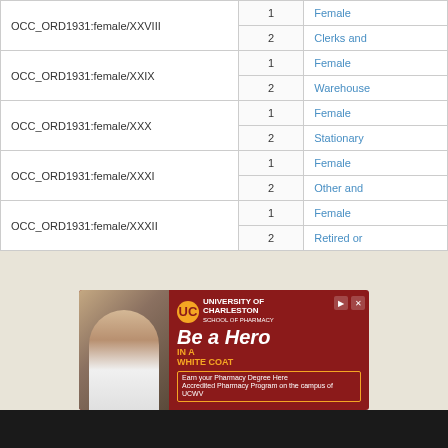| ID | Num | Label |
| --- | --- | --- |
| OCC_ORD1931:female/XXVIII | 1 | Female |
| OCC_ORD1931:female/XXVIII | 2 | Clerks and... |
| OCC_ORD1931:female/XXIX | 1 | Female |
| OCC_ORD1931:female/XXIX | 2 | Warehouse... |
| OCC_ORD1931:female/XXX | 1 | Female |
| OCC_ORD1931:female/XXX | 2 | Stationary... |
| OCC_ORD1931:female/XXXI | 1 | Female |
| OCC_ORD1931:female/XXXI | 2 | Other and... |
| OCC_ORD1931:female/XXXII | 1 | Female |
| OCC_ORD1931:female/XXXII | 2 | Retired or... |
[Figure (illustration): University of Charleston School of Pharmacy advertisement — 'Be a Hero IN A WHITE COAT' with a female student in a white coat and the UC logo]